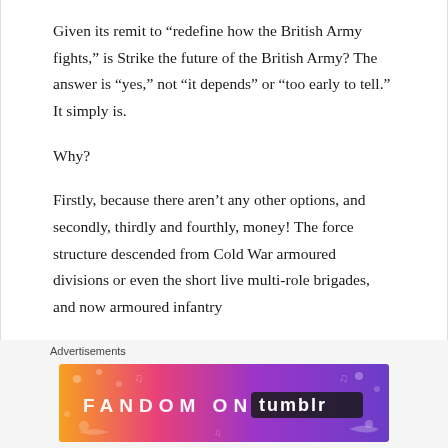Given its remit to “redefine how the British Army fights,” is Strike the future of the British Army? The answer is “yes,” not “it depends” or “too early to tell.” It simply is.
Why?
Firstly, because there aren’t any other options, and secondly, thirdly and fourthly, money! The force structure descended from Cold War armoured divisions or even the short live multi-role brigades, and now armoured infantry
Advertisements
[Figure (other): Fandom on Tumblr advertisement banner with orange, pink, and purple gradient background and decorative elements]